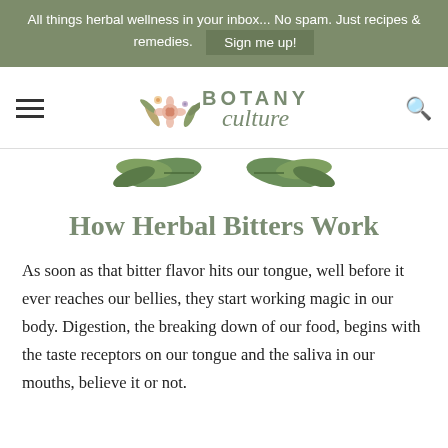All things herbal wellness in your inbox... No spam. Just recipes & remedies. Sign me up!
[Figure (logo): Botany Culture logo with floral illustration and text 'BOTANY culture']
[Figure (illustration): Decorative green leaf illustration strip]
How Herbal Bitters Work
As soon as that bitter flavor hits our tongue, well before it ever reaches our bellies, they start working magic in our body. Digestion, the breaking down of our food, begins with the taste receptors on our tongue and the saliva in our mouths, believe it or not.